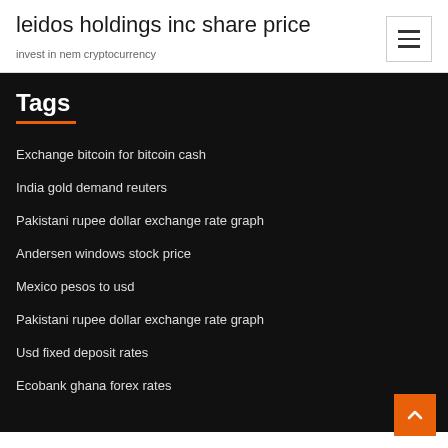leidos holdings inc share price
invest in nem cryptocurrency
Tags
Exchange bitcoin for bitcoin cash
India gold demand reuters
Pakistani rupee dollar exchange rate graph
Andersen windows stock price
Mexico pesos to usd
Pakistani rupee dollar exchange rate graph
Usd fixed deposit rates
Ecobank ghana forex rates